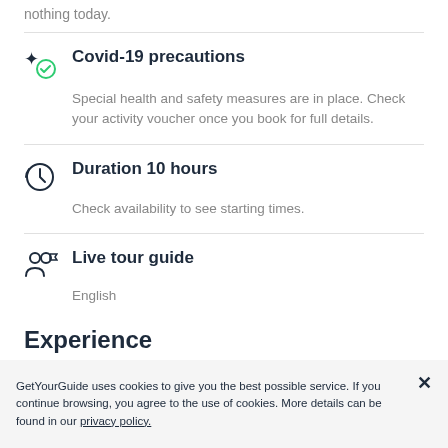nothing today.
Covid-19 precautions
Special health and safety measures are in place. Check your activity voucher once you book for full details.
Duration 10 hours
Check availability to see starting times.
Live tour guide
English
Experience
GetYourGuide uses cookies to give you the best possible service. If you continue browsing, you agree to the use of cookies. More details can be found in our privacy policy.